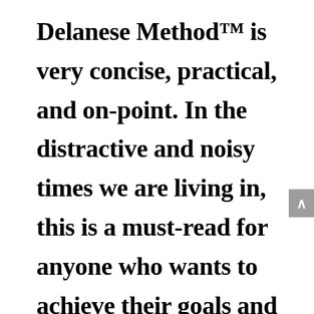Delanese Method™ is very concise, practical, and on-point. In the distractive and noisy times we are living in, this is a must-read for anyone who wants to achieve their goals and improve